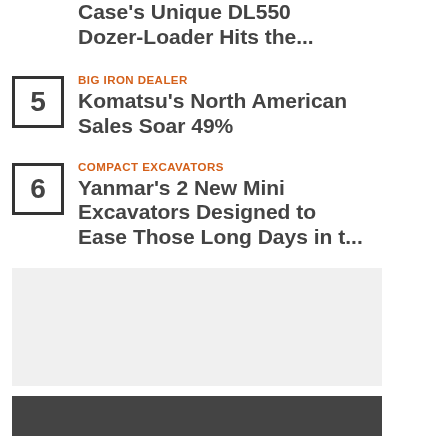Case's Unique DL550 Dozer-Loader Hits the...
BIG IRON DEALER
Komatsu's North American Sales Soar 49%
COMPACT EXCAVATORS
Yanmar's 2 New Mini Excavators Designed to Ease Those Long Days in t...
[Figure (other): Gray rectangular placeholder box]
[Figure (other): Dark gray/charcoal rectangular banner at bottom]